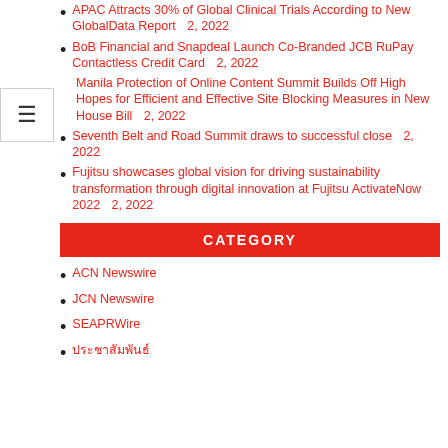APAC Attracts 30% of Global Clinical Trials According to New GlobalData Report  2, 2022
BoB Financial and Snapdeal Launch Co-Branded JCB RuPay Contactless Credit Card  2, 2022
Manila Protection of Online Content Summit Builds Off High Hopes for Efficient and Effective Site Blocking Measures in New House Bill  2, 2022
Seventh Belt and Road Summit draws to successful close  2, 2022
Fujitsu showcases global vision for driving sustainability transformation through digital innovation at Fujitsu ActivateNow 2022  2, 2022
CATEGORY
ACN Newswire
JCN Newswire
SEAPRWire
ประชาสัมพันธ์